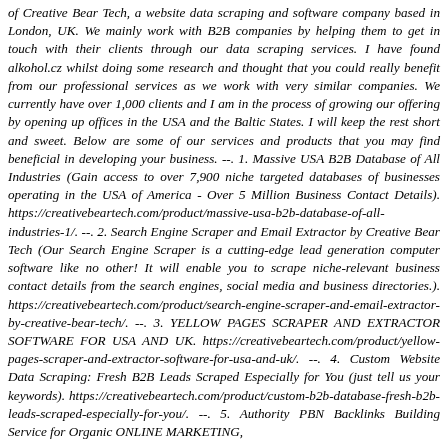of Creative Bear Tech, a website data scraping and software company based in London, UK. We mainly work with B2B companies by helping them to get in touch with their clients through our data scraping services. I have found alkohol.cz whilst doing some research and thought that you could really benefit from our professional services as we work with very similar companies. We currently have over 1,000 clients and I am in the process of growing our offering by opening up offices in the USA and the Baltic States. I will keep the rest short and sweet. Below are some of our services and products that you may find beneficial in developing your business. --. 1. Massive USA B2B Database of All Industries (Gain access to over 7,900 niche targeted databases of businesses operating in the USA of America - Over 5 Million Business Contact Details). https://creativebeartech.com/product/massive-usa-b2b-database-of-all-industries-1/. --. 2. Search Engine Scraper and Email Extractor by Creative Bear Tech (Our Search Engine Scraper is a cutting-edge lead generation computer software like no other! It will enable you to scrape niche-relevant business contact details from the search engines, social media and business directories.). https://creativebeartech.com/product/search-engine-scraper-and-email-extractor-by-creative-bear-tech/. --. 3. YELLOW PAGES SCRAPER AND EXTRACTOR SOFTWARE FOR USA AND UK. https://creativebeartech.com/product/yellow-pages-scraper-and-extractor-software-for-usa-and-uk/. --. 4. Custom Website Data Scraping: Fresh B2B Leads Scraped Especially for You (just tell us your keywords). https://creativebeartech.com/product/custom-b2b-database-fresh-b2b-leads-scraped-especially-for-you/. --. 5. Authority PBN Backlinks Building Service for Organic ONLINE MARKETING,